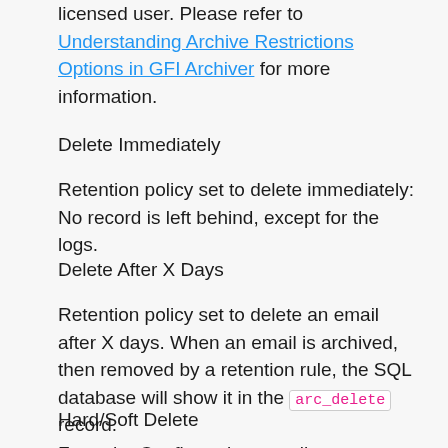licensed user. Please refer to Understanding Archive Restrictions Options in GFI Archiver for more information.
Delete Immediately
Retention policy set to delete immediately: No record is left behind, except for the logs.
Delete After X Days
Retention policy set to delete an email after X days. When an email is archived, then removed by a retention rule, the SQL database will show it in the arc_delete record.
Hard/Soft Delete
From the Configuration, email